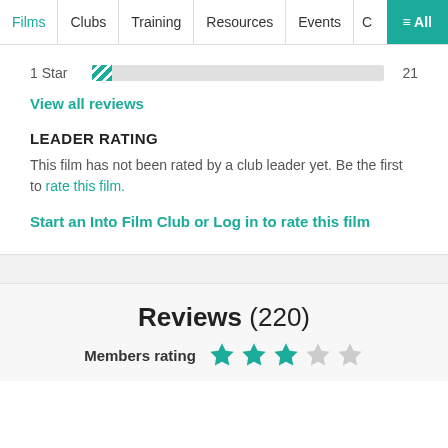Films | Clubs | Training | Resources | Events | C | ≡ All
1 Star   21
View all reviews
LEADER RATING
This film has not been rated by a club leader yet. Be the first to rate this film.
Start an Into Film Club or Log in to rate this film
Reviews (220)
Members rating ★★★☆☆